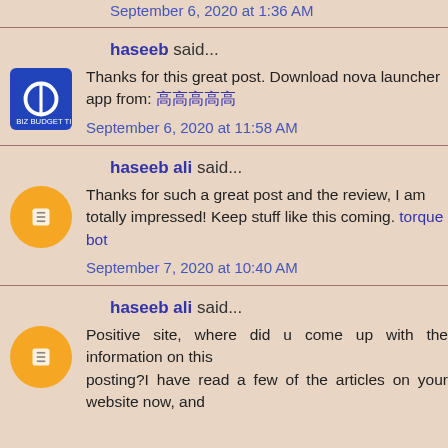September 6, 2020 at 1:36 AM
haseeb said...
Thanks for this great post. Download nova launcher app from: [unicode link]
September 6, 2020 at 11:58 AM
haseeb ali said...
Thanks for such a great post and the review, I am totally impressed! Keep stuff like this coming. torque bot
September 7, 2020 at 10:40 AM
haseeb ali said...
Positive site, where did u come up with the information on this posting?I have read a few of the articles on your website now, and